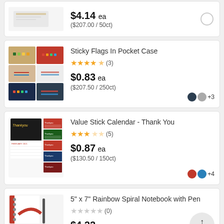[Figure (photo): Partial product listing image - white envelope/card product]
$4.14 ea
($207.00 / 50ct)
[Figure (photo): Sticky Flags In Pocket Case product thumbnails showing 6 color variants in a 2x3 grid]
Sticky Flags In Pocket Case
★★★★½ (3)
$0.83 ea
($207.50 / 250ct)
[Figure (photo): Value Stick Calendar - Thank You product image showing calendar with Thank You branding]
Value Stick Calendar - Thank You
★★★★☆ (5)
$0.87 ea
($130.50 / 150ct)
[Figure (photo): 5 inch x 7 inch Rainbow Spiral Notebook with Pen product images]
5" x 7" Rainbow Spiral Notebook with Pen
★★★★★ (0)
$4.22 ea